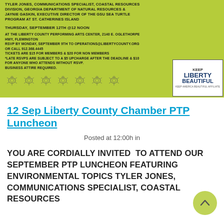[Figure (other): Green flyer banner for Liberty County Chamber PTP Luncheon event with turtle decorations and Keep Liberty Beautiful logo. Text describes event details including speakers Tyler Jones and Jaynie Gaskin, date Thursday September 12th at 12 noon, location Liberty County Performing Arts Center, RSVP and ticket information.]
12 Sep Liberty County Chamber PTP Luncheon
Posted at 12:00h in
YOU ARE CORDIALLY INVITED TO ATTEND OUR SEPTEMBER PTP LUNCHEON FEATURING ENVIRONMENTAL TOPICS TYLER JONES, COMMUNICATIONS SPECIALIST, COASTAL RESOURCES